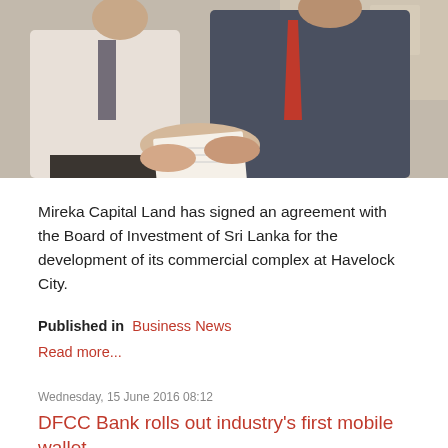[Figure (photo): Two men in business attire exchanging or signing documents; one in a light shirt and dark tie, the other in a dark suit with a red tie.]
Mireka Capital Land has signed an agreement with the Board of Investment of Sri Lanka for the development of its commercial complex at Havelock City.
Published in  Business News
Read more...
Wednesday, 15 June 2016 08:12
DFCC Bank rolls out industry's first mobile wallet